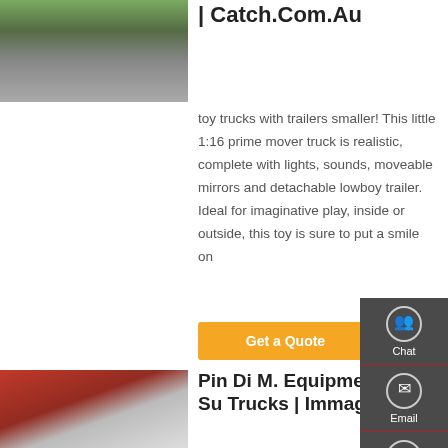[Figure (photo): Rear view of a green dump truck on a road]
| Catch.Com.Au
toy trucks with trailers smaller! This little 1:16 prime mover truck is realistic, complete with lights, sounds, moveable mirrors and detachable lowboy trailer. Ideal for imaginative play, inside or outside, this toy is sure to put a smile on
Get a Quote
[Figure (photo): Red prime mover truck cab parked in a yard]
Pin Di M. Equipment Su Trucks | Immagini